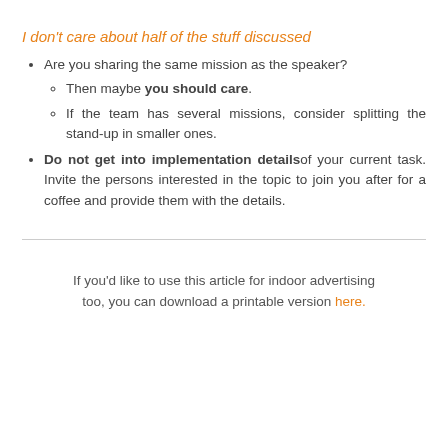I don't care about half of the stuff discussed
Are you sharing the same mission as the speaker?
  - Then maybe you should care.
  - If the team has several missions, consider splitting the stand-up in smaller ones.
Do not get into implementation details of your current task. Invite the persons interested in the topic to join you after for a coffee and provide them with the details.
If you'd like to use this article for indoor advertising too, you can download a printable version here.